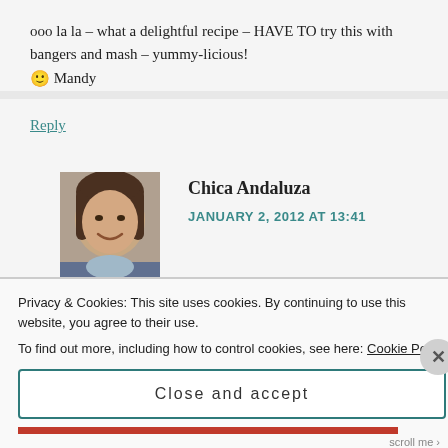ooo la la – what a delightful recipe – HAVE TO try this with bangers and mash – yummy-licious!
🙂 Mandy
Reply
[Figure (photo): Profile photo of Chica Andaluza, a woman with dark hair, smiling]
Chica Andaluza
JANUARY 2, 2012 AT 13:41
Aha – you know what they are!
Privacy & Cookies: This site uses cookies. By continuing to use this website, you agree to their use.
To find out more, including how to control cookies, see here: Cookie Policy
Close and accept